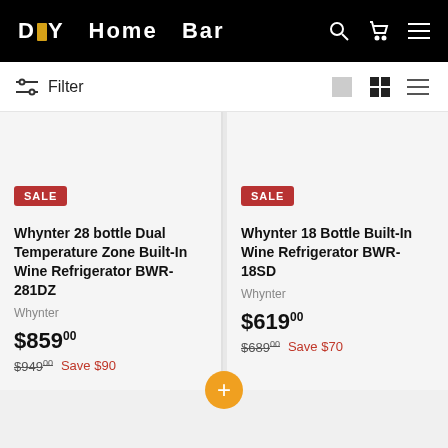DIY Home Bar
Filter
SALE
Whynter 28 bottle Dual Temperature Zone Built-In Wine Refrigerator BWR-281DZ
Whynter
$859.00
$949.00 Save $90
SALE
Whynter 18 Bottle Built-In Wine Refrigerator BWR-18SD
Whynter
$619.00
$689.00 Save $70